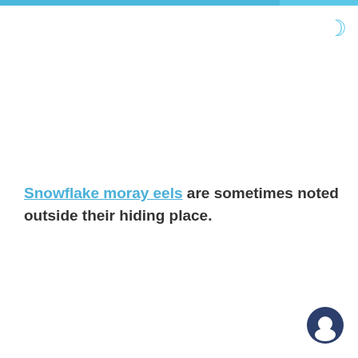Snowflake moray eels are sometimes noted outside their hiding place.
[Figure (other): Chat bubble icon at bottom right]